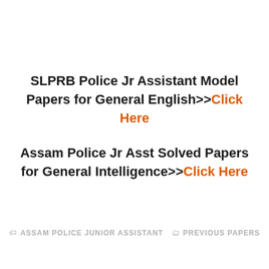SLPRB Police Jr Assistant Model Papers for General English>>Click Here
Assam Police Jr Asst Solved Papers for General Intelligence>>Click Here
ASSAM POLICE JUNIOR ASSISTANT   PREVIOUS PAPERS